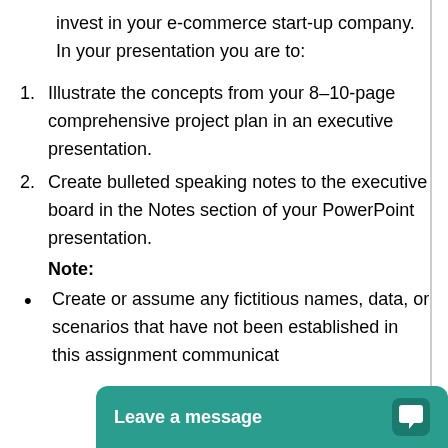invest in your e-commerce start-up company. In your presentation you are to:
Illustrate the concepts from your 8–10-page comprehensive project plan in an executive presentation.
Create bulleted speaking notes to the executive board in the Notes section of your PowerPoint presentation.
Note:
Create or assume any fictitious names, data, or scenarios that have not been established in this assignment communicat